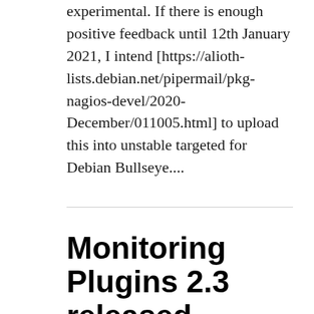experimental. If there is enough positive feedback until 12th January 2021, I intend [https://alioth-lists.debian.net/pipermail/pkg-nagios-devel/2020-December/011005.html] to upload this into unstable targeted for Debian Bullseye....
Monitoring Plugins 2.3 released